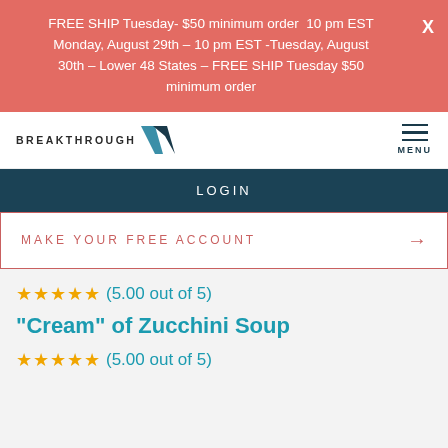FREE SHIP Tuesday- $50 minimum order  10 pm EST Monday, August 29th – 10 pm EST -Tuesday, August 30th – Lower 48 States – FREE SHIP Tuesday $50 minimum order
[Figure (logo): Breakthrough M2 logo with stylized M2 mark]
LOGIN
MAKE YOUR FREE ACCOUNT →
★★★★★ (5.00 out of 5)
"Cream" of Zucchini Soup
★★★★★ (5.00 out of 5)